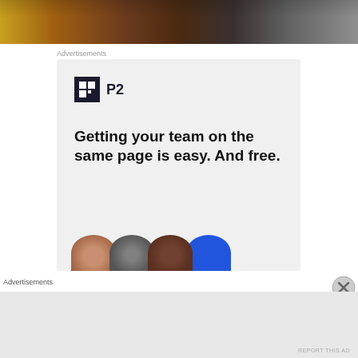[Figure (photo): Top portion of a product photo showing a knife on a wooden surface with warm brown tones]
Advertisements
[Figure (screenshot): Advertisement for P2 product with logo showing a grid icon and text 'P2', headline reading 'Getting your team on the same page is easy. And free.' with circular avatar images at the bottom]
Advertisements
REPORT THIS AD